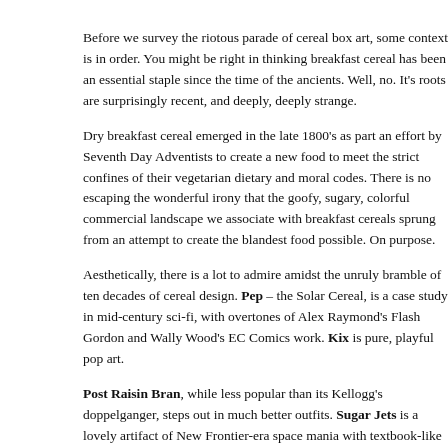Before we survey the riotous parade of cereal box art, some context is in order. You might be right in thinking breakfast cereal has been an essential staple since the time of the ancients. Well, no. It's roots are surprisingly recent, and deeply, deeply strange.
Dry breakfast cereal emerged in the late 1800's as part an effort by Seventh Day Adventists to create a new food to meet the strict confines of their vegetarian dietary and moral codes. There is no escaping the wonderful irony that the goofy, sugary, colorful commercial landscape we associate with breakfast cereals sprung from an attempt to create the blandest food possible. On purpose.
Aesthetically, there is a lot to admire amidst the unruly bramble of ten decades of cereal design. Pep – the Solar Cereal, is a case study in mid-century sci-fi, with overtones of Alex Raymond's Flash Gordon and Wally Wood's EC Comics work. Kix is pure, playful pop art.
Post Raisin Bran, while less popular than its Kellogg's doppelganger, steps out in much better outfits. Sugar Jets is a lovely artifact of New Frontier-era space mania with textbook-like illustrations, diagrams and booklets about man-made Satellites. Sugar Crisp sports some sweet type.
And, in case you were wondering, Trix Rabbit did manage to score some cereal, in both 1976 and 1990.
SHARETHIS